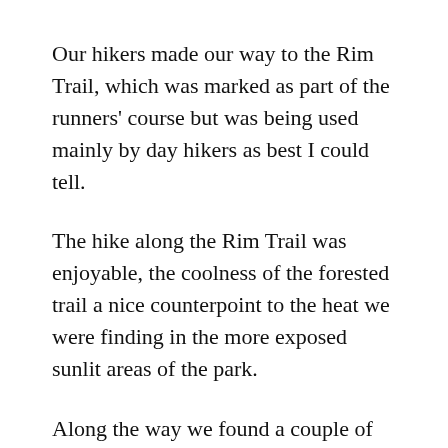Our hikers made our way to the Rim Trail, which was marked as part of the runners' course but was being used mainly by day hikers as best I could tell.
The hike along the Rim Trail was enjoyable, the coolness of the forested trail a nice counterpoint to the heat we were finding in the more exposed sunlit areas of the park.
Along the way we found a couple of downed trees across the trail, something that would have been a most temporary occurrence that would have been quickly corrected by park staff in past years.